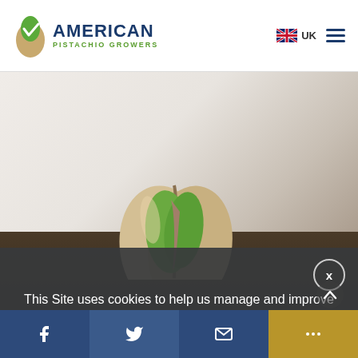AMERICAN PISTACHIO GROWERS — UK
[Figure (photo): Single open pistachio nut with green kernel visible, photographed on a light grey marble-like background, with a bowl of pistachios partially visible at the bottom right.]
This Site uses cookies to help us manage and improve your browsing experience, the website, and the information we send to our users. Click here for more information.
[Figure (infographic): Bottom social sharing bar with four sections: Facebook (dark blue), Twitter (dark blue), Email (dark blue), and More/share (gold/ochre). An upward chevron arrow button appears at right above the bar.]